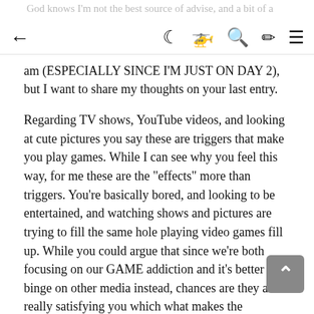God knows I'm not the best source of advise, and a bit of a
am (ESPECIALLY SINCE I'M JUST ON DAY 2), but I want to share my thoughts on your last entry.
Regarding TV shows, YouTube videos, and looking at cute pictures you say these are triggers that make you play games. While I can see why you feel this way, for me these are the "effects" more than triggers. You're basically bored, and looking to be entertained, and watching shows and pictures are trying to fill the same hole playing video games fill up. While you could argue that since we're both focusing on our GAME addiction and it's better to binge on other media instead, chances are they aren't really satisfying you which what makes the temptation to game so much stonger.
What you can do is go to the opposite spectrum, being productive. Now this is just my opinion and it's likely for me to be wrong but to use an example, some people consider doing chores or studying productive, but for me being productive means actually PRODUCING something. Creating is the opposite of Consuming. You're not really producing something when doing chores. I would argue that one way of being productive means